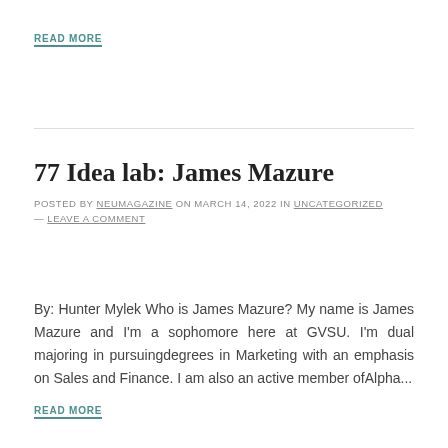READ MORE
77 Idea lab: James Mazure
POSTED BY NEUMAGAZINE ON MARCH 14, 2022 IN UNCATEGORIZED — LEAVE A COMMENT
By: Hunter Mylek Who is James Mazure? My name is James Mazure and I'm a sophomore here at GVSU. I'm dual majoring in pursuingdegrees in Marketing with an emphasis on Sales and Finance. I am also an active member ofAlpha...
READ MORE